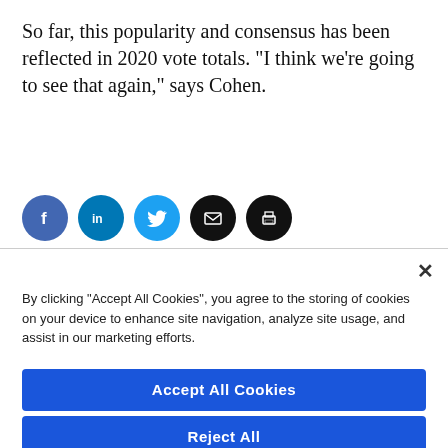So far, this popularity and consensus has been reflected in 2020 vote totals. “I think we’re going to see that again,” says Cohen.
[Figure (other): Row of 5 social sharing icon buttons: Facebook (dark blue circle), LinkedIn (teal circle), Twitter (light blue circle), Email (black circle), Print (black circle)]
By clicking “Accept All Cookies”, you agree to the storing of cookies on your device to enhance site navigation, analyze site usage, and assist in our marketing efforts.
Accept All Cookies
Reject All
Cookies Settings